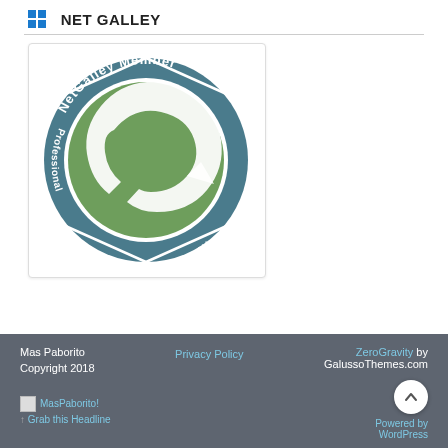NET GALLEY
[Figure (logo): NetGalley Member Professional Reader circular badge/logo with teal outer ring and green center with stylized 'e' arrow icon]
Mas Paborito
Copyright 2018
MasPaborito!
Grab this Headline | Privacy Policy | ZeroGravity by GalussoThemes.com
Powered by WordPress